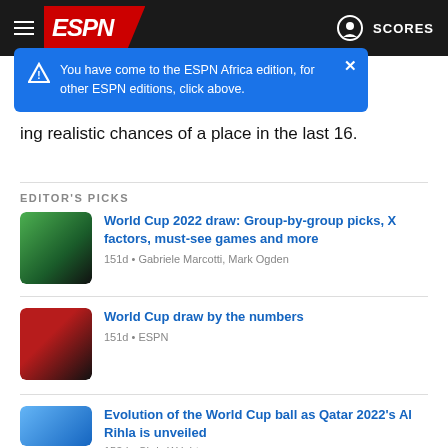[Figure (screenshot): ESPN navigation bar with hamburger menu, ESPN logo, and SCORES button]
[Figure (infographic): Blue tooltip popup: You have come to the ESPN Africa edition, for other ESPN editions, click above.]
ing realistic chances of a place in the last 16.
EDITOR'S PICKS
[Figure (photo): World Cup trophy thumbnail]
World Cup 2022 draw: Group-by-group picks, X factors, must-see games and more
151d • Gabriele Marcotti, Mark Ogden
[Figure (photo): World Cup draw thumbnail]
World Cup draw by the numbers
151d • ESPN
[Figure (photo): World Cup ball thumbnail]
Evolution of the World Cup ball as Qatar 2022's Al Rihla is unveiled
153d • Chris Wright